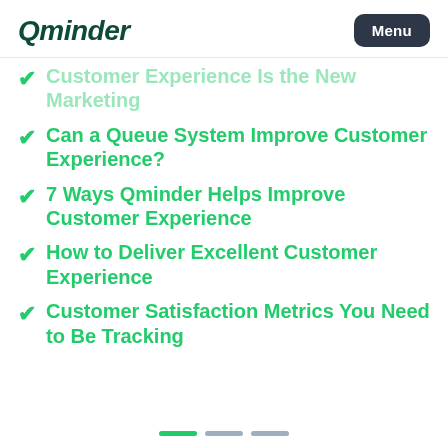Qminder Menu
Customer Experience Is the New Marketing
Can a Queue System Improve Customer Experience?
7 Ways Qminder Helps Improve Customer Experience
How to Deliver Excellent Customer Experience
Customer Satisfaction Metrics You Need to Be Tracking